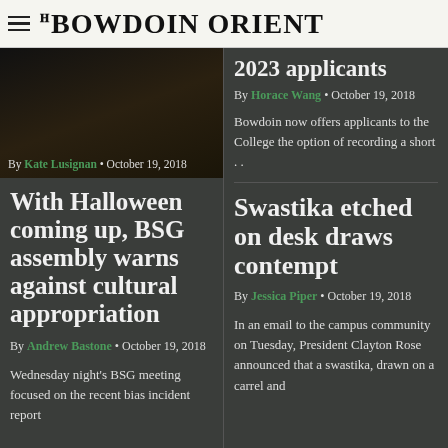THE BOWDOIN ORIENT
By Kate Lusignan • October 19, 2018
[Figure (photo): Dark photograph of a person in a dim room]
2023 applicants
By Horace Wang • October 19, 2018
Bowdoin now offers applicants to the College the option of recording a short . .
With Halloween coming up, BSG assembly warns against cultural appropriation
By Andrew Bastone • October 19, 2018
Wednesday night's BSG meeting focused on the recent bias incident report
Swastika etched on desk draws contempt
By Jessica Piper • October 19, 2018
In an email to the campus community on Tuesday, President Clayton Rose announced that a swastika, drawn on a carrel and